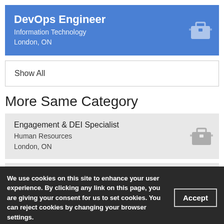DevOps Engineer
Information Technology
London, ON
Show All
More Same Category
Engagement & DEI Specialist
Human Resources
London, ON
Talent Acquisition Specialist - Sales
Human Resources
London, ON
We use cookies on this site to enhance your user experience. By clicking any link on this page, you are giving your consent for us to set cookies. You can reject cookies by changing your browser settings.